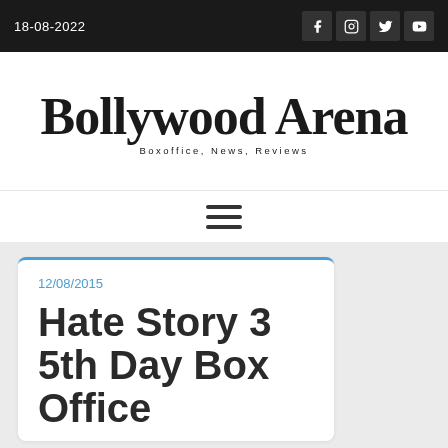18-08-2022
[Figure (logo): Bollywood Arena logo with cursive script text 'Bollywood Arena' and subtitle 'Boxoffice, News, Reviews']
[Figure (other): Hamburger menu icon with three horizontal bars]
12/08/2015
Hate Story 3 5th Day Box Office Collection